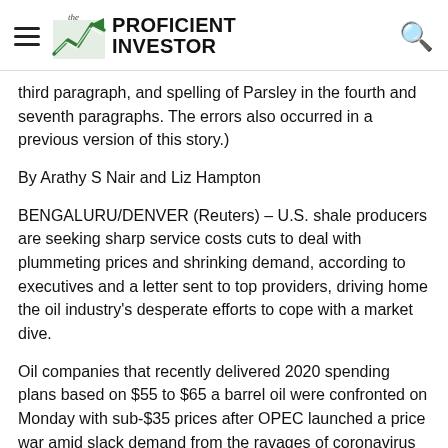The Proficient Investor
third paragraph, and spelling of Parsley in the fourth and seventh paragraphs. The errors also occurred in a previous version of this story.)
By Arathy S Nair and Liz Hampton
BENGALURU/DENVER (Reuters) – U.S. shale producers are seeking sharp service costs cuts to deal with plummeting prices and shrinking demand, according to executives and a letter sent to top providers, driving home the oil industry's desperate efforts to cope with a market dive.
Oil companies that recently delivered 2020 spending plans based on $55 to $65 a barrel oil were confronted on Monday with sub-$35 prices after OPEC launched a price war amid slack demand from the ravages of coronavirus on